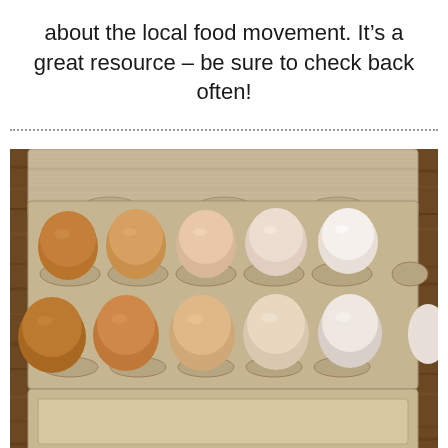about the local food movement. It's a great resource – be sure to check back often!
[Figure (photo): Overhead view of an open egg carton on a wooden surface containing 10 eggs ranging in color from dark brown to light brown/cream to white, arranged in two rows of five. Another empty egg carton tray is visible below.]